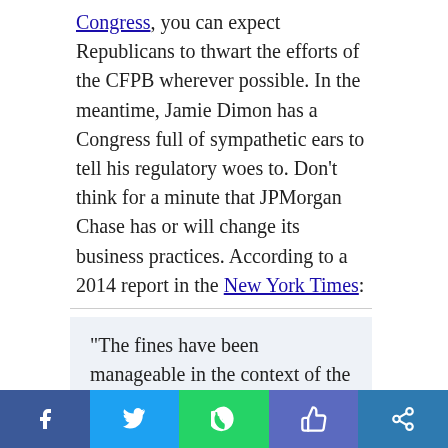Congress, you can expect Republicans to thwart the efforts of the CFPB wherever possible. In the meantime, Jamie Dimon has a Congress full of sympathetic ears to tell his regulatory woes to. Don't think for a minute that JPMorgan Chase has or will change its business practices. According to a 2014 report in the New York Times:
“The fines have been manageable in the context of the bank’s earnings capacity,” Jason Goldberg, a bank analyst at Barclays, said. “It
Social share bar: Facebook, Twitter, WhatsApp, Like, Share